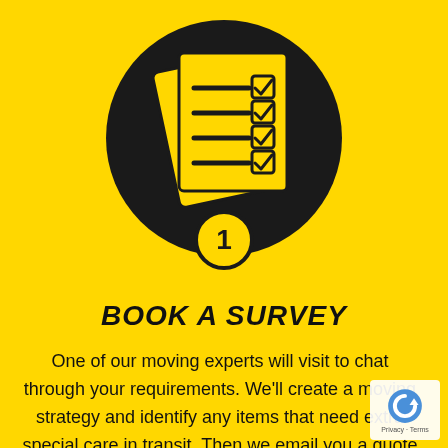[Figure (illustration): A large black circle with a yellow checklist/clipboard icon inside (showing lines and checkmarks), and a small yellow circle with the number 1 at the bottom of the large circle.]
BOOK A SURVEY
One of our moving experts will visit to chat through your requirements. We'll create a moving strategy and identify any items that need extra special care in transit. Then we email you a quote within 24 hours.